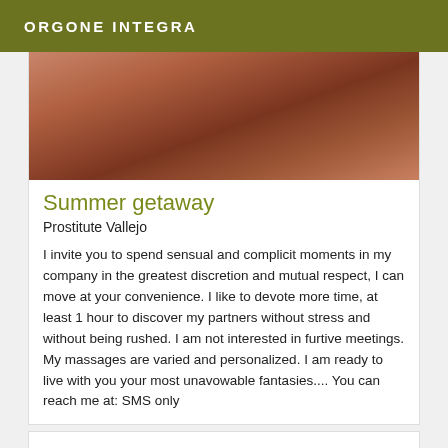ORGONE INTEGRA
[Figure (photo): Close-up photo with warm brown/reddish tones]
Summer getaway
Prostitute Vallejo
I invite you to spend sensual and complicit moments in my company in the greatest discretion and mutual respect, I can move at your convenience. I like to devote more time, at least 1 hour to discover my partners without stress and without being rushed. I am not interested in furtive meetings. My massages are varied and personalized. I am ready to live with you your most unavowable fantasies.... You can reach me at: SMS only